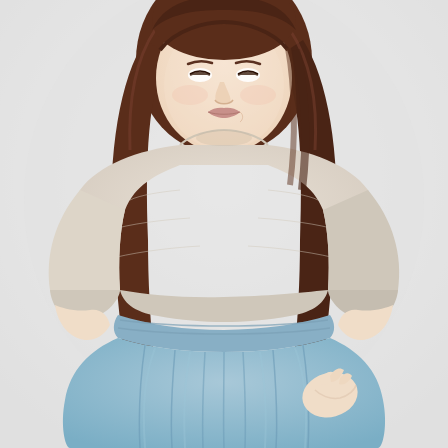[Figure (photo): A woman with long brown hair, smiling and looking down. She is wearing a loose, light beige/cream knit top with 3/4 sleeves and a wide neckline, paired with a flowing light blue midi skirt with a gathered elastic waistband. The background is plain light grey/white. The photo is a fashion product shot cropped from shoulders to mid-thigh.]